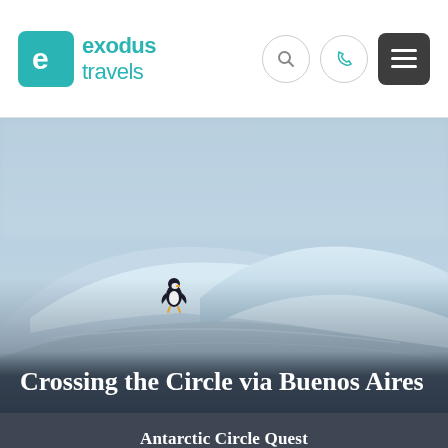[Figure (logo): Exodus Travels logo: teal rounded square with white 'e' icon, followed by 'exodus travels' text in teal]
[Figure (photo): Antarctic scene showing a lone penguin on a large blue-white iceberg against a misty grey-blue sky]
Crossing the Circle via Buenos Aires
Antarctic Circle Quest
VIEW DATES & PRICES